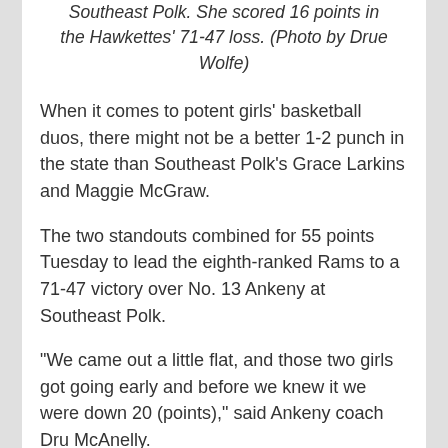Southeast Polk. She scored 16 points in the Hawkettes' 71-47 loss. (Photo by Drue Wolfe)
When it comes to potent girls' basketball duos, there might not be a better 1-2 punch in the state than Southeast Polk's Grace Larkins and Maggie McGraw.
The two standouts combined for 55 points Tuesday to lead the eighth-ranked Rams to a 71-47 victory over No. 13 Ankeny at Southeast Polk.
"We came out a little flat, and those two girls got going early and before we knew it we were down 20 (points)," said Ankeny coach Dru McAnelly.
"Obviously, we couldn't let them going to need to come...